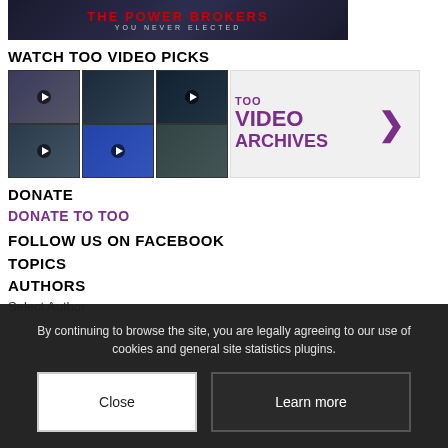[Figure (screenshot): Dark banner image with red text 'THE POWER BROKERS' and subtitle 'YOU NEVER ELECTED']
WATCH TOO VIDEO PICKS
[Figure (screenshot): Grid of 6 video thumbnails on the left, and a 'too VIDEO ARCHIVES' banner with purple text and arrow on the right]
DONATE
DONATE TO TOO
FOLLOW US ON FACEBOOK
TOPICS
AUTHORS
Select Author
By continuing to browse the site, you are legally agreeing to our use of cookies and general site statistics plugins.